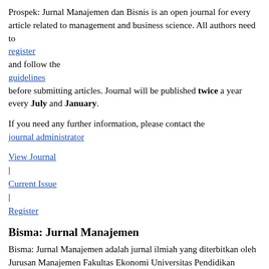Prospek: Jurnal Manajemen dan Bisnis is an open journal for every article related to management and business science. All authors need to register and follow the guidelines before submitting articles. Journal will be published twice a year every July and January.

If you need any further information, please contact the journal administrator

View Journal
|
Current Issue
|
Register
Bisma: Jurnal Manajemen
Bisma: Jurnal Manajemen adalah jurnal ilmiah yang diterbitkan oleh Jurusan Manajemen Fakultas Ekonomi Universitas Pendidikan Ganesha yang bertujuan untuk mempublikasikan artikel-artikel kajian empiris dan teoritis dalam bidang manajemen